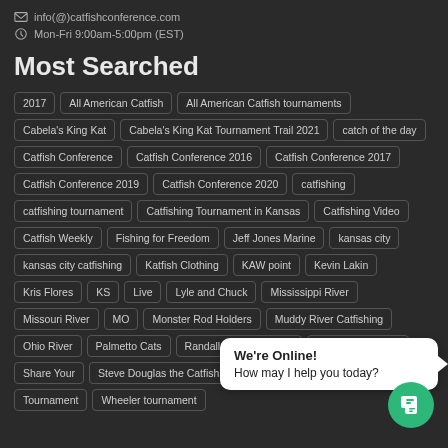info(@)catfishconference.com
Mon-Fri 9:00am-5:00pm (EST)
Most Searched
2017
All American Catfish
All American Catfish tournaments
Cabela's King Kat
Cabela's King Kat Tournament Trail 2021
catch of the day
Catfish Conference
Catfish Conference 2016
Catfish Conference 2017
Catfish Conference 2019
Catfish Conference 2020
catfishing
catfishing tournament
Catfishing Tournament in Kansas
Catfishing Video
Catfish Weekly
Fishing for Freedom
Jeff Jones Marine
kansas city
kansas city catfishing
Katfish Clothing
KAW point
Kevin Lakin
Kris Flores
KS
Live
Lyle and Chuck
Mississippi River
Missouri River
MO
Monster Rod Holders
Muddy River Catfishing
Ohio River
Palmetto Cats
Randall Gengenbacher
Rig Rap giveaway
Share Your
Steve Douglas the Catfish Dude
Tim Lange (aka Doc)
Tournament
Wheeler tournament
We're Online! How may I help you today?